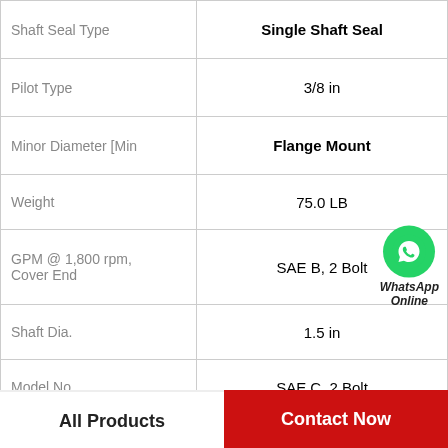| Property | Value |
| --- | --- |
| Shaft Seal Type | Single Shaft Seal |
| Pilot Type | 3/8 in |
| Minor Diameter [Min | Flange Mount |
| Weight | 75.0 LB |
| GPM @ 1,800 rpm, Cover End | SAE B, 2 Bolt |
| Shaft Dia. | 1.5 in |
| Model No. | SAE C, 2 Bolt |
| Spline Description | 45VTBS60A-2203AA22L |
[Figure (logo): WhatsApp green phone icon with 'WhatsApp Online' text below]
All Products
Contact Now